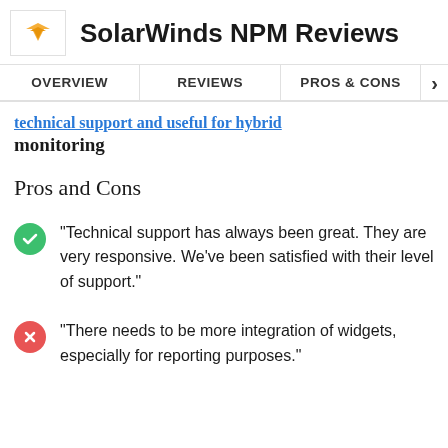SolarWinds NPM Reviews
OVERVIEW | REVIEWS | PROS & CONS
technical support and useful for hybrid monitoring
Pros and Cons
"Technical support has always been great. They are very responsive. We've been satisfied with their level of support."
"There needs to be more integration of widgets, especially for reporting purposes."